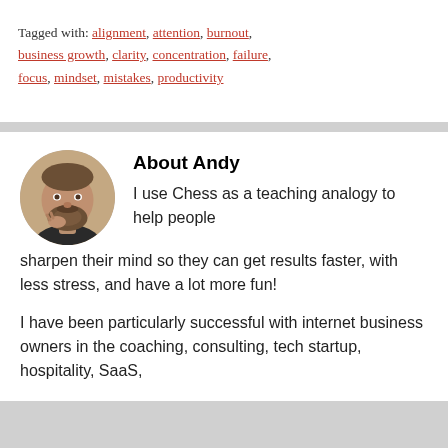Tagged with: alignment, attention, burnout, business growth, clarity, concentration, failure, focus, mindset, mistakes, productivity
[Figure (photo): Circular profile photo of a bearded man with short brown hair, resting his hand near his chin, wearing a dark shirt.]
About Andy
I use Chess as a teaching analogy to help people sharpen their mind so they can get results faster, with less stress, and have a lot more fun!
I have been particularly successful with internet business owners in the coaching, consulting, tech startup, hospitality, SaaS,